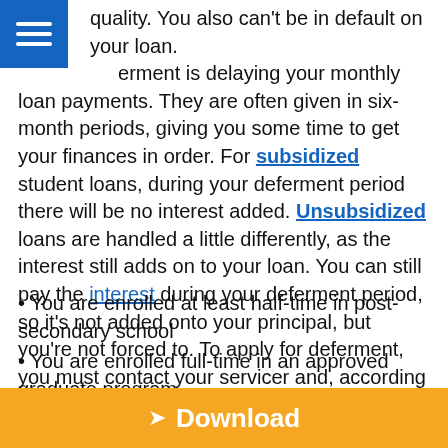quality. You also can't be in default on your loan. [deferment] is delaying your monthly loan payments. They are often given in six-month periods, giving you some time to get your finances in order. For subsidized student loans, during your deferment period there will be no interest added. Unsubsidized loans are handled a little differently, as the interest still adds on to your loan. You can still pay the interest during your deferment period, so it's not added onto your principal, but you're not forced to. To apply for deferment, you must contact your servicer and, according to Federal Student Aid, must meet the following eligibility:
You are enrolled at least half-time in post-secondary school
You are enrolled full-time in an approved graduate program
Download